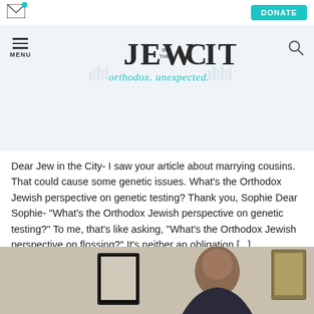Jew in the City - orthodox. unexpected.
Dear Jew in the City- I saw your article about marrying cousins. That could cause some genetic issues. What's the Orthodox Jewish perspective on genetic testing? Thank you, Sophie Dear Sophie- "What's the Orthodox Jewish perspective on genetic testing?" To me, that's like asking, "What's the Orthodox Jewish perspective on flossing?" It's neither an obligation [...]
CONTINUE READING
[Figure (photo): Photo of a man in an office with framed pictures on the wall behind him]